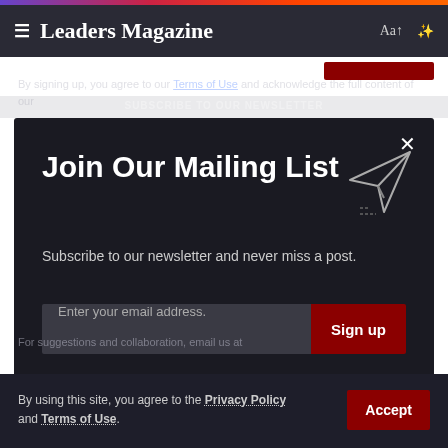Leaders Magazine
By signing up, you agree to our Terms of Use and acknowledge the full…
Join Our Mailing List
Subscribe to our newsletter and never miss a post.
Enter your email address.
Sign up
We don't spam! Unsubscribe at any time.
For suggestions and collaboration, email us at
By using this site, you agree to the Privacy Policy and Terms of Use.
Accept